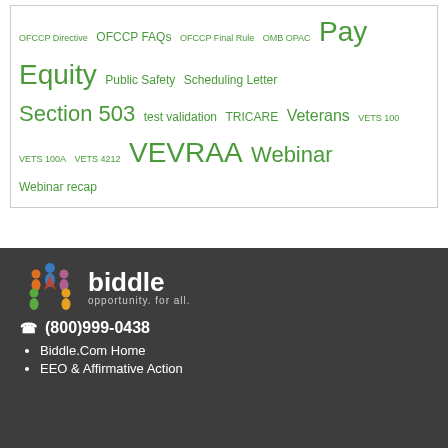OFCCP Directive OFCCP FAQs OFCCP Final Rule OMB OPAC Pay Equity Public Safety Scheduling Letter Section 503 test validation TRICARE Veterans VETS 100 VETS 100A VETS 4212 VEVRAA Webinar Webinar recap
[Figure (logo): Biddle logo with colorful people figures and text 'biddle opportunity. for all.']
(800)999-0438
Biddle.Com Home
EEO & Affirmative Action